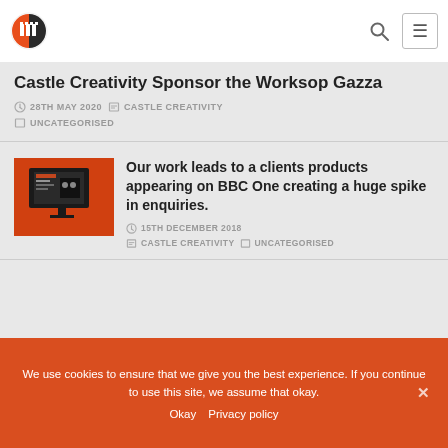Castle Creativity - Header navigation with logo, search, and menu
Castle Creativity Sponsor the Worksop Gazza
28TH MAY 2020   CASTLE CREATIVITY   UNCATEGORISED
[Figure (photo): Thumbnail image showing a computer screen with orange/red Castle Creativity branding on a dark background]
Our work leads to a clients products appearing on BBC One creating a huge spike in enquiries.
15TH DECEMBER 2018   CASTLE CREATIVITY   UNCATEGORISED
We use cookies to ensure that we give you the best experience. If you continue to use this site, we assume that okay.
Okay   Privacy policy